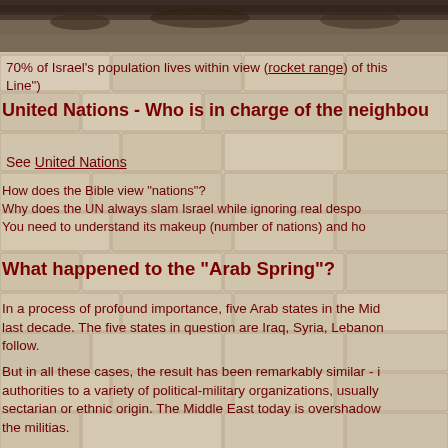[Figure (photo): Aerial or landscape photo of a Middle Eastern area with buildings and arid terrain, shown as a dark band at the top of the page.]
70% of Israel's population lives within view (rocket range) of this Line")
United Nations - Who is in charge of the neighbou
See United Nations
How does the Bible view "nations"?
Why does the UN always slam Israel while ignoring real despo
You need to understand its makeup (number of nations) and ho
What happened to the "Arab Spring"?
In a process of profound importance, five Arab states in the Mid last decade. The five states in question are Iraq, Syria, Lebanon follow.
But in all these cases, the result has been remarkably similar - i authorities to a variety of political-military organizations, usually sectarian or ethnic origin. The Middle East today is overshadow the militias.